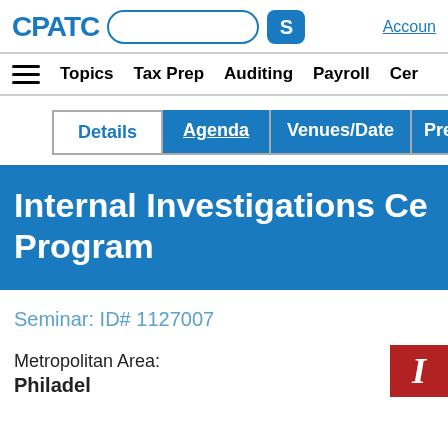CPATC [search box] [S button] Accoun...
Topics  Tax Prep  Auditing  Payroll  Cer...
Details  Agenda  Venues/Date  Prese...
Internal Investigations Ce... Program
Seminar: ID# 1127007
Metropolitan Area:
Philadelphia